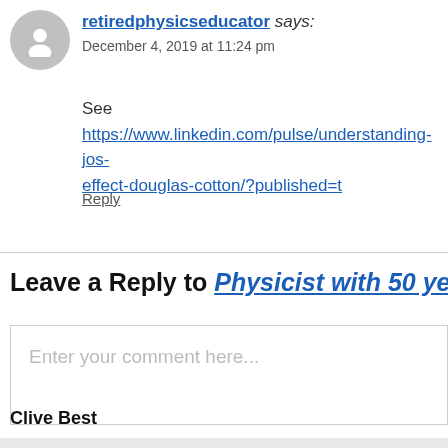retiredphysicseducator says:
December 4, 2019 at 11:24 pm
See https://www.linkedin.com/pulse/understanding-jos-effect-douglas-cotton/?published=t
Reply
Leave a Reply to Physicist with 50 years ex…
Enter your comment here...
Clive Best